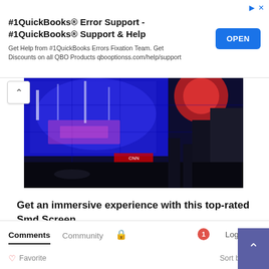[Figure (infographic): Advertisement banner for #1QuickBooks Error Support with OPEN button]
[Figure (photo): Large LED display screen showing colorful city imagery at night, Times Square style with blue and red lighting]
Get an immersive experience with this top-rated Smd Screen
July 29, 2022
Comments  Community  Login
Favorite  Sort by Best